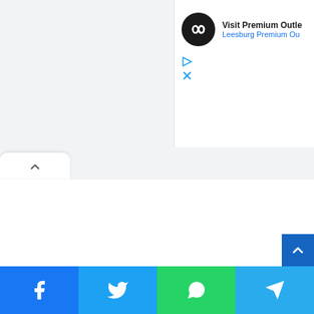[Figure (screenshot): Partial screenshot of a webpage showing an advertisement panel with Premium Outlets logo and text 'Visit Premium Outlet... Leesburg Premium Ou...' with play and close icons, a tab/card UI element with an up-chevron, a blue scroll-to-top button, and a social sharing bar at the bottom with Facebook, Twitter, WhatsApp, and Telegram icons.]